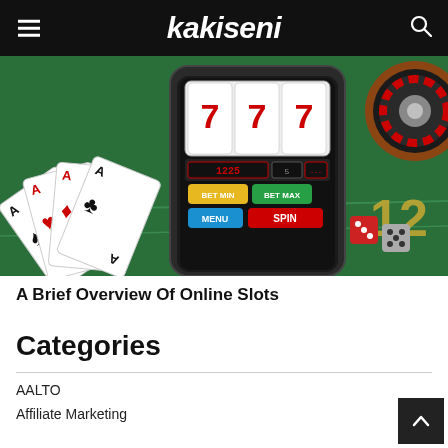kakiseni
[Figure (photo): Casino-themed image showing a smartphone displaying a slot machine game with 7-7-7 reels, SPIN button, MENU, BET MIN, BET MAX buttons, surrounded by playing cards (Aces), a roulette wheel, dice, and a green casino table with the number 12 visible.]
A Brief Overview Of Online Slots
Categories
AALTO
Affiliate Marketing